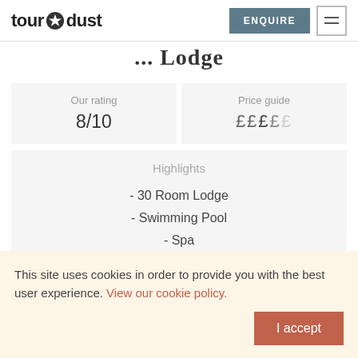[Figure (logo): tour dust logo with star icon]
...Lodge
| Our rating | Price guide |
| --- | --- |
| 8/10 | ££££ |
Highlights
- 30 Room Lodge
- Swimming Pool
- Spa
- Bungalows with verandahs
This site uses cookies in order to provide you with the best user experience. View our cookie policy.